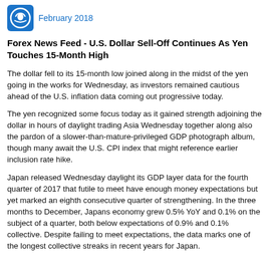February 2018
Forex News Feed - U.S. Dollar Sell-Off Continues As Yen Touches 15-Month High
The dollar fell to its 15-month low joined along in the midst of the yen going in the works for Wednesday, as investors remained cautious ahead of the U.S. inflation data coming out progressive today.
The yen recognized some focus today as it gained strength adjoining the dollar in hours of daylight trading Asia Wednesday together along also the pardon of a slower-than-mature-privileged GDP photograph album, though many await the U.S. CPI index that might reference earlier inclusion rate hike.
Japan released Wednesday daylight its GDP layer data for the fourth quarter of 2017 that futile to meet have enough money expectations but yet marked an eighth consecutive quarter of strengthening. In the three months to December, Japans economy grew 0.5% YoY and 0.1% on the subject of a quarter, both below expectations of 0.9% and 0.1% collective. Despite failing to meet expectations, the data marks one of the longest collective streaks in recent years for Japan.